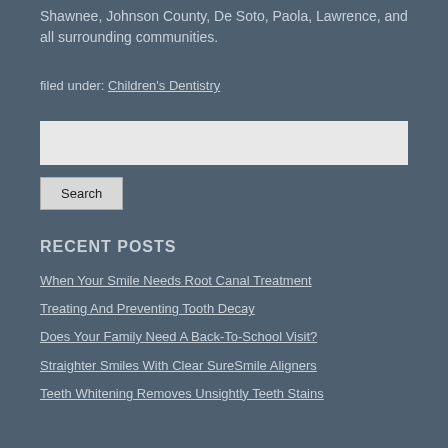Shawnee, Johnson County, De Soto, Paola, Lawrence, and all surrounding communities.
filed under: Children's Dentistry
Search
RECENT POSTS
When Your Smile Needs Root Canal Treatment
Treating And Preventing Tooth Decay
Does Your Family Need A Back-To-School Visit?
Straighter Smiles With Clear SureSmile Aligners
Teeth Whitening Removes Unsightly Teeth Stains